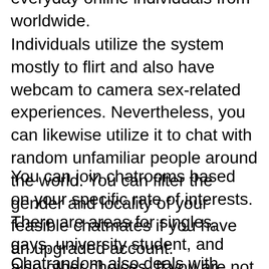everyday online individuals from worldwide.
Individuals utilize the system mostly to flirt and also have webcam to camera sex-related experiences. Nevertheless, you can likewise utilize it to chat with random unfamiliar people around the world. You can filter the gender and locality of your feasible chatmates if you have an upgraded account.
You can join chatrooms based on your specific rate of interests. There are areas for singles, gays, university student, and also other choices. If you are not right into webcam chat, you can participate in text-only chat rooms.
Chatrandom also deals with gays as well as